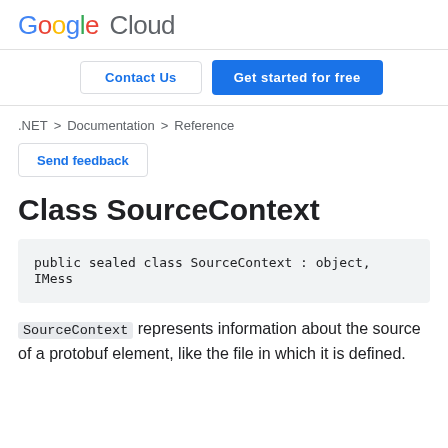Google Cloud
Contact Us | Get started for free
.NET > Documentation > Reference
Send feedback
Class SourceContext
public sealed class SourceContext : object, IMess
SourceContext represents information about the source of a protobuf element, like the file in which it is defined.